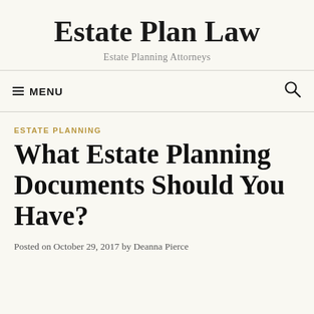Estate Plan Law
Estate Planning Attorneys
≡ MENU
ESTATE PLANNING
What Estate Planning Documents Should You Have?
Posted on October 29, 2017 by Deanna Pierce